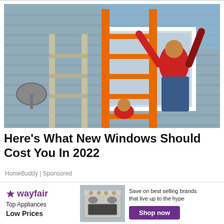[Figure (photo): Workers installing a window on the exterior of a house. One person in a red shirt and jeans stands on an orange ladder reaching up to fit a large white window frame. Another person assists from below near the base of the ladder. The house has grey vinyl siding.]
Here's What New Windows Should Cost You In 2022
HomeBuddy | Sponsored
[Figure (infographic): Wayfair advertisement banner. Logo on left with purple star and 'wayfair' wordmark. Text: 'Top Appliances Low Prices'. Center image shows a stainless steel range/oven. Right side text: 'Save on best selling brands that live up to the hype' with a purple 'Shop now' button.]